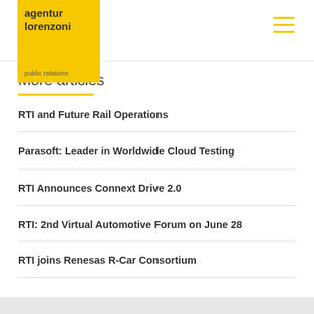[Figure (logo): agentur lorenzoni yellow square logo with text 'agentur lorenzoni' and 'public relations']
More articles
RTI and Future Rail Operations
Parasoft: Leader in Worldwide Cloud Testing
RTI Announces Connext Drive 2.0
RTI: 2nd Virtual Automotive Forum on June 28
RTI joins Renesas R-Car Consortium